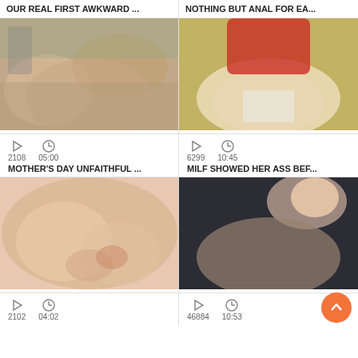OUR REAL FIRST AWKWARD ...
NOTHING BUT ANAL FOR EA...
[Figure (photo): Video thumbnail - kitchen scene]
[Figure (photo): Video thumbnail - person in red top]
2108   05:00
MOTHER'S DAY UNFAITHFUL ...
6299   10:45
MILF SHOWED HER ASS BEF...
[Figure (photo): Video thumbnail - close up skin]
[Figure (photo): Video thumbnail - person in black outfit]
2102   04:02
46884   10:53